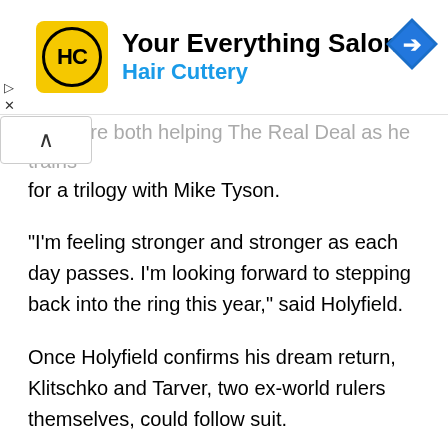[Figure (other): Advertisement banner for Hair Cuttery 'Your Everything Salon' with yellow HC logo, blue navigation arrow icon, and close/collapse controls]
...arver are both helping The Real Deal as he trains for a trilogy with Mike Tyson.
“I’m feeling stronger and stronger as each day passes. I’m looking forward to stepping back into the ring this year,” said Holyfield.
Once Holyfield confirms his dream return, Klitschko and Tarver, two ex-world rulers themselves, could follow suit.
Klitschko took to his social media to tip his hat to